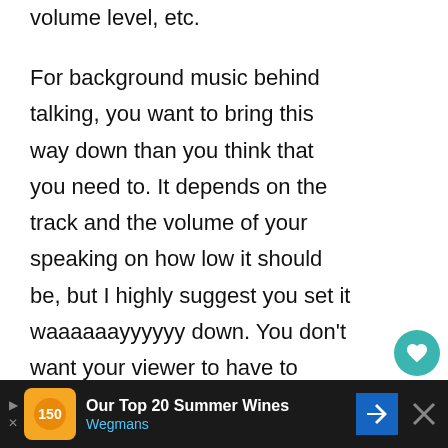volume level, etc.
For background music behind talking, you want to bring this way down than you think that you need to. It depends on the track and the volume of your speaking on how low it should be, but I highly suggest you set it waaaaaayyyyyy down. You don't want your viewer to have to strain to hear or understand what you're saying. Plus, the music can be a distraction to your viewer.
[Figure (other): Advertisement banner at bottom: dark background with Wegmans logo and text 'Our Top 20 Summer Wines', navigation icon, and close button.]